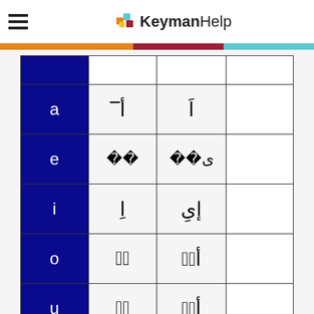KeymanHelp
|  |  |  |  |
| --- | --- | --- | --- |
| a | أ‍ | اَ‍ |  |
| e | ◌◌ | ى◌◌ |  |
| i | ا‍ِ | إى‍ِ |  |
| o | أ‍ُ | أو‍ُ |  |
| u | أ‍ُ | أو‍ُ |  |